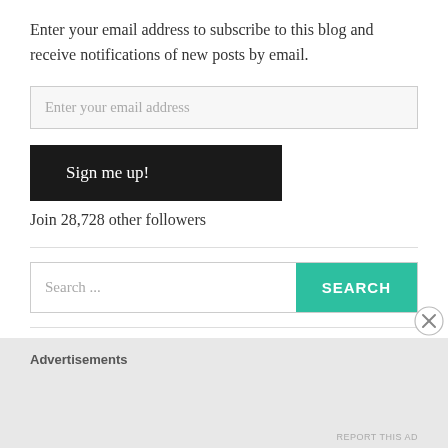Enter your email address to subscribe to this blog and receive notifications of new posts by email.
Enter your email address
Sign me up!
Join 28,728 other followers
Search ...
SEARCH
Advertisements
REPORT THIS AD